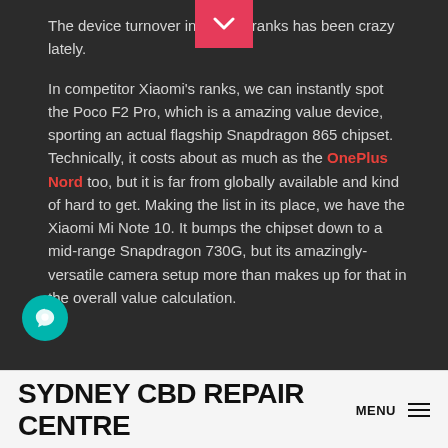The device turnover in Oppo's ranks has been crazy lately.
In competitor Xiaomi's ranks, we can instantly spot the Poco F2 Pro, which is a amazing value device, sporting an actual flagship Snapdragon 865 chipset. Technically, it costs about as much as the OnePlus Nord too, but it is far from globally available and kind of hard to get. Making the list in its place, we have the Xiaomi Mi Note 10. It bumps the chipset down to a mid-range Snapdragon 730G, but its amazingly-versatile camera setup more than makes up for that in the overall value calculation.
SYDNEY CBD REPAIR CENTRE  MENU ≡